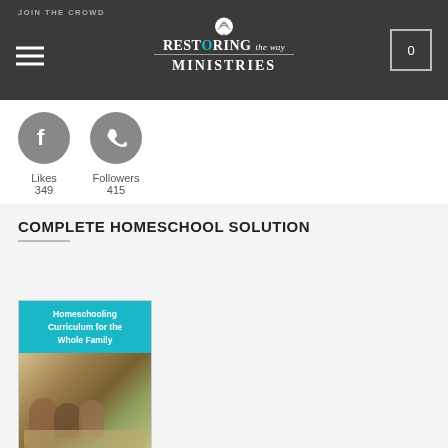JOIN THE CROWD — Restoring the Way Ministries
Likes 349   Followers 415
COMPLETE HOMESCHOOL SOLUTION
[Figure (screenshot): Product card showing a homeschooling curriculum book with cyan banner reading 'Homeschooling Curriculum for the Whole Family' and bottom text 'Torah-Observant, Practical, ...']